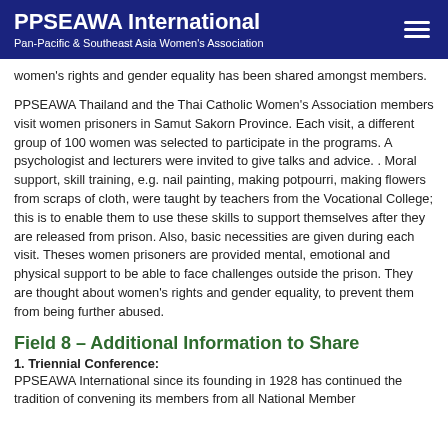PPSEAWA International
Pan-Pacific & Southeast Asia Women's Association
women's rights and gender equality has been shared amongst members.
PPSEAWA Thailand and the Thai Catholic Women's Association members visit women prisoners in Samut Sakorn Province. Each visit, a different group of 100 women was selected to participate in the programs. A psychologist and lecturers were invited to give talks and advice. . Moral support, skill training, e.g. nail painting, making potpourri, making flowers from scraps of cloth, were taught by teachers from the Vocational College; this is to enable them to use these skills to support themselves after they are released from prison. Also, basic necessities are given during each visit. Theses women prisoners are provided mental, emotional and physical support to be able to face challenges outside the prison. They are thought about women's rights and gender equality, to prevent them from being further abused.
Field 8 – Additional Information to Share
1. Triennial Conference:
PPSEAWA International since its founding in 1928 has continued the tradition of convening its members from all National Member